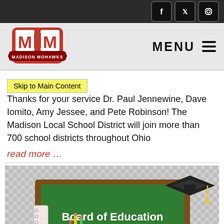Madison Mohawks school website header with social media icons (Facebook, Twitter, Instagram) and navigation menu
[Figure (logo): Madison Mohawks school logo - red M with banner reading Madison Mohawks]
Skip to Main Content
Thanks for your service Dr. Paul Jennewine, Dave Iomito, Amy Jessee, and Pete Robinson! The Madison Local School District will join more than 700 school districts throughout Ohio
read more …
[Figure (illustration): Board of Education illustration: green chalkboard with 'Board of Education' text in white bold font, graduation cap on top right corner, open book and pencil/notebook at bottom left, checkered background]